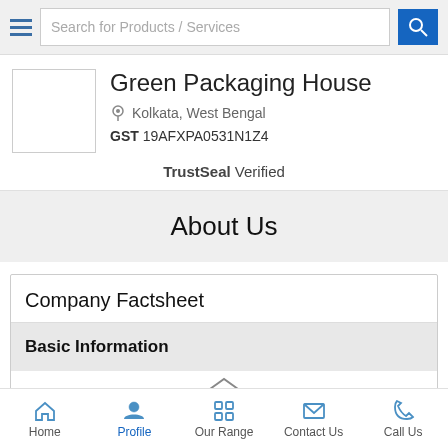Search for Products / Services
Green Packaging House
Kolkata, West Bengal
GST 19AFXPA0531N1Z4
TrustSeal Verified
About Us
Company Factsheet
Basic Information
Home | Profile | Our Range | Contact Us | Call Us